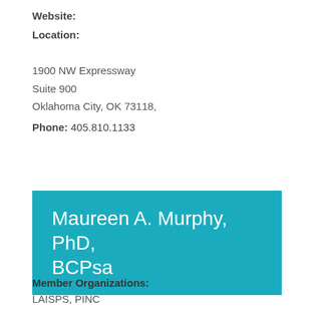Website:
Location:
1900 NW Expressway
Suite 900
Oklahoma City, OK 73118,
Phone: 405.810.1133
Maureen A. Murphy, PhD, BCPsa
Member Organizations:
LAISPS, PINC